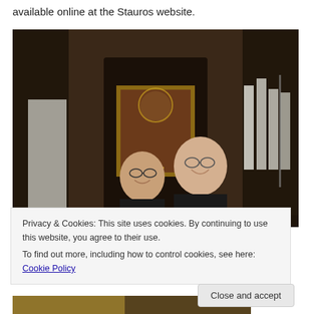available online at the Stauros website.
[Figure (photo): Two men standing together inside a church or chapel, with a framed religious painting/icon visible behind them. The interior has dark wooden architectural elements, arched windows with light, and white vestments hanging on the right side.]
Privacy & Cookies: This site uses cookies. By continuing to use this website, you agree to their use.
To find out more, including how to control cookies, see here: Cookie Policy
[Figure (photo): Partial view of another photograph at the bottom of the page, showing some golden/yellow tones.]